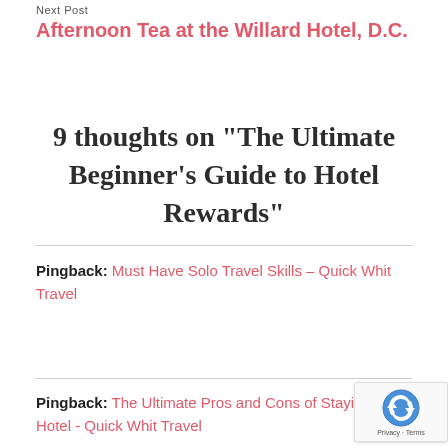Next Post
Afternoon Tea at the Willard Hotel, D.C.
9 thoughts on "The Ultimate Beginner's Guide to Hotel Rewards"
Pingback: Must Have Solo Travel Skills – Quick Whit Travel
Pingback: The Ultimate Pros and Cons of Staying in Hotel - Quick Whit Travel